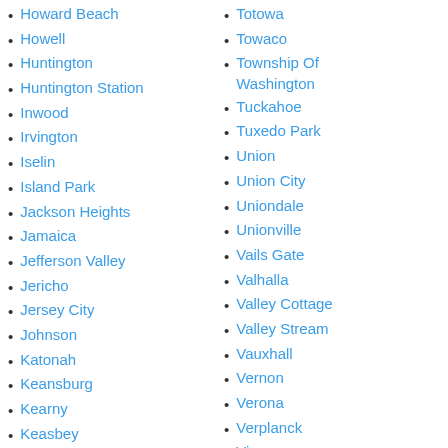Howard Beach
Howell
Huntington
Huntington Station
Inwood
Irvington
Iselin
Island Park
Jackson Heights
Jamaica
Jefferson Valley
Jericho
Jersey City
Johnson
Katonah
Keansburg
Kearny
Keasbey
Kendall Park
Totowa
Towaco
Township Of Washington
Tuckahoe
Tuxedo Park
Union
Union City
Uniondale
Unionville
Vails Gate
Valhalla
Valley Cottage
Valley Stream
Vauxhall
Vernon
Verona
Verplanck
Vienna